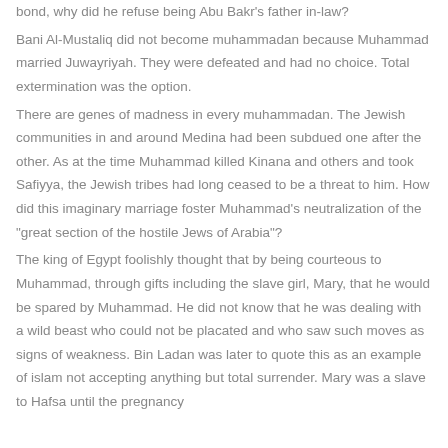bond, why did he refuse being Abu Bakr's father in-law? Bani Al-Mustaliq did not become muhammadan because Muhammad married Juwayriyah. They were defeated and had no choice. Total extermination was the option. There are genes of madness in every muhammadan. The Jewish communities in and around Medina had been subdued one after the other. As at the time Muhammad killed Kinana and others and took Safiyya, the Jewish tribes had long ceased to be a threat to him. How did this imaginary marriage foster Muhammad's neutralization of the "great section of the hostile Jews of Arabia"? The king of Egypt foolishly thought that by being courteous to Muhammad, through gifts including the slave girl, Mary, that he would be spared by Muhammad. He did not know that he was dealing with a wild beast who could not be placated and who saw such moves as signs of weakness. Bin Ladan was later to quote this as an example of islam not accepting anything but total surrender. Mary was a slave to Hafsa until the pregnancy